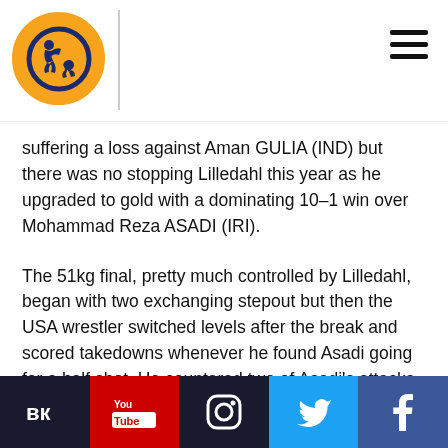[UWW logo] [hamburger menu]
suffering a loss against Aman GULIA (IND) but there was no stopping Lilledahl this year as he upgraded to gold with a dominating 10-1 win over Mohammad Reza ASADI (IRI).
The 51kg final, pretty much controlled by Lilledahl, began with two exchanging stepout but then the USA wrestler switched levels after the break and scored takedowns whenever he found Asadi going for a half shot. He countered two of Asadi's attacks while he scored a takedown and added a leg lace in his 12-1 victory for the gold medal.
"Luke wrestlers at a hard pace," Green said. "He keeps a low head but is always moving and engaging. He takes the points as they come and doesn't rush into attacks."
VK | YouTube | Instagram | Twitter | Facebook